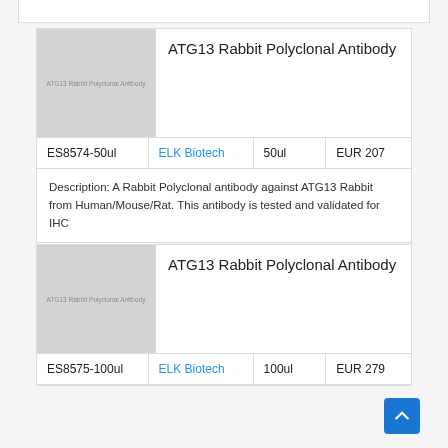[Figure (illustration): Product image placeholder for ATG13 Rabbit Polyclonal Antibody (first card)]
ATG13 Rabbit Polyclonal Antibody
| SKU | Vendor | Size | Price |
| --- | --- | --- | --- |
| ES8574-50ul | ELK Biotech | 50ul | EUR 207 |
Description: A Rabbit Polyclonal antibody against ATG13 Rabbit from Human/Mouse/Rat. This antibody is tested and validated for IHC
[Figure (illustration): Product image placeholder for ATG13 Rabbit Polyclonal Antibody (second card)]
ATG13 Rabbit Polyclonal Antibody
| SKU | Vendor | Size | Price |
| --- | --- | --- | --- |
| ES8575-100ul | ELK Biotech | 100ul | EUR 279 |